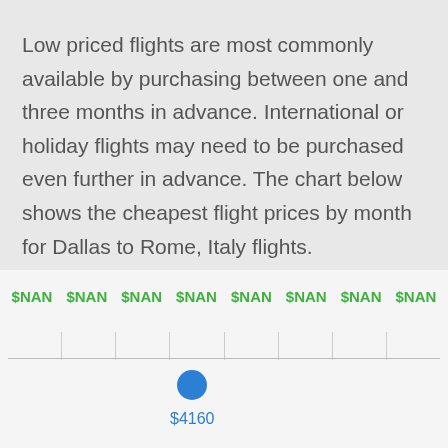Low priced flights are most commonly available by purchasing between one and three months in advance. International or holiday flights may need to be purchased even further in advance. The chart below shows the cheapest flight prices by month for Dallas to Rome, Italy flights.
[Figure (other): A chart area showing 8 columns with $NAN labels in green at the top, a horizontal axis line, and one blue dot marker with the label $4160 beneath it.]